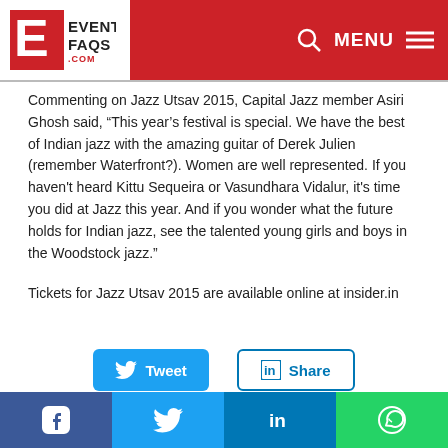EventFaqs.com — MENU
Commenting on Jazz Utsav 2015, Capital Jazz member Asiri Ghosh said, “This year’s festival is special. We have the best of Indian jazz with the amazing guitar of Derek Julien (remember Waterfront?). Women are well represented. If you haven't heard Kittu Sequeira or Vasundhara Vidalur, it's time you did at Jazz this year. And if you wonder what the future holds for Indian jazz, see the talented young girls and boys in the Woodstock jazz.”
Tickets for Jazz Utsav 2015 are available online at insider.in